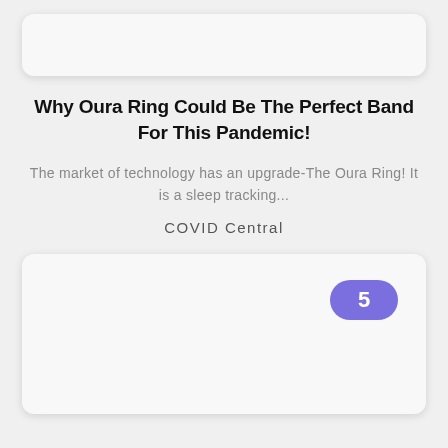[Figure (other): Top card image placeholder, light gray rounded rectangle]
Why Oura Ring Could Be The Perfect Band For This Pandemic!
The market of technology has an upgrade-The Oura Ring! It is a sleep tracking...
COVID Central
[Figure (other): Bottom card image placeholder, light gray rounded rectangle with a purple badge showing the number 5]